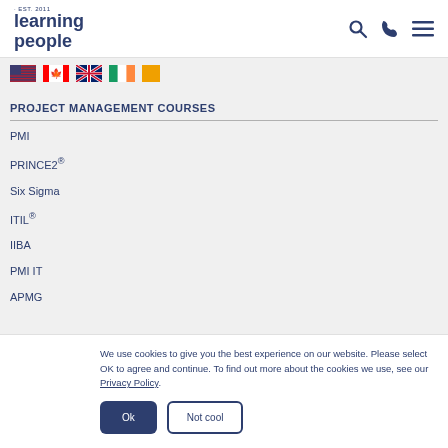learning people
[Figure (other): Country flag icons: US, Canada/France, UK, Ireland, and one more flag]
PROJECT MANAGEMENT COURSES
PMI
PRINCE2®
Six Sigma
ITIL®
IIBA
PMI IT
APMG
We use cookies to give you the best experience on our website. Please select OK to agree and continue. To find out more about the cookies we use, see our Privacy Policy.